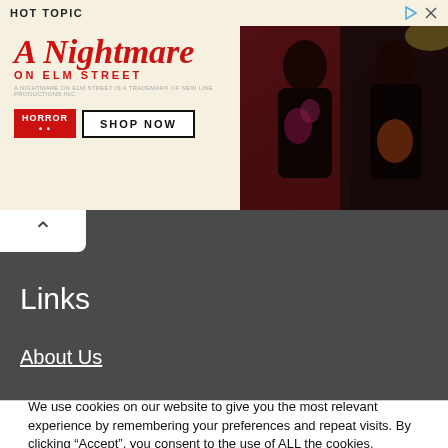[Figure (photo): Hot Topic advertisement for 'A Nightmare on Elm Street' merchandise showing two people in dark clothing against a red background, with 'HORROR' badge and 'SHOP NOW' button]
Links
About Us
We use cookies on our website to give you the most relevant experience by remembering your preferences and repeat visits. By clicking “Accept”, you consent to the use of ALL the cookies.
Do not sell my personal information.
Cookie settings   ACCEPT